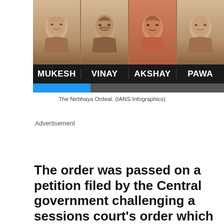[Figure (photo): Photo of four individuals named MUKESH, VINAY, AKSHAY, and PAWA (Nirbhaya case convicts) shown as illustrated portraits with names in a black bar beneath]
The Nirbhaya Ordeal. (IANS Infographics)
Advertisement
[Figure (other): Asian Lite advertisement banner: ASIAN LITE logo on left, Advertise Here in center, text 'Spread your words through one of the leading, Digital First Asian Newspapers from London, UK.' on right]
The order was passed on a petition filed by the Central government challenging a sessions court's order which